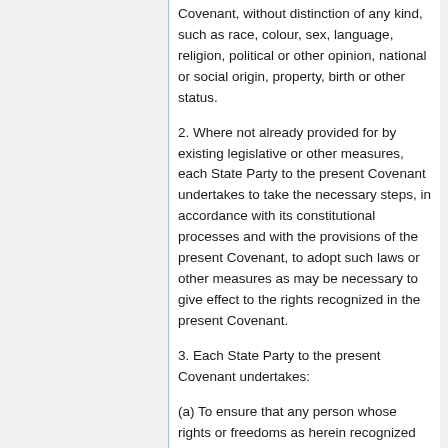Covenant, without distinction of any kind, such as race, colour, sex, language, religion, political or other opinion, national or social origin, property, birth or other status.
2. Where not already provided for by existing legislative or other measures, each State Party to the present Covenant undertakes to take the necessary steps, in accordance with its constitutional processes and with the provisions of the present Covenant, to adopt such laws or other measures as may be necessary to give effect to the rights recognized in the present Covenant.
3. Each State Party to the present Covenant undertakes:
(a) To ensure that any person whose rights or freedoms as herein recognized